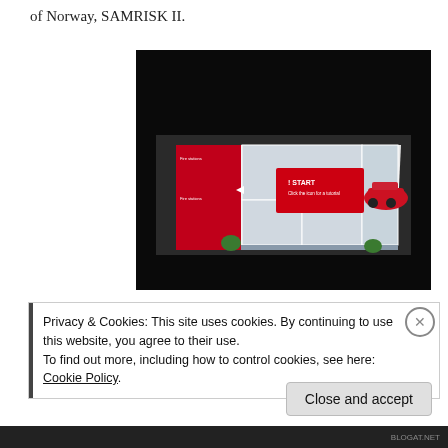of Norway, SAMRISK II.
[Figure (photo): A photograph of a physical tabletop model/board game showing a floor plan layout of a house with a red car, a 'START' button card placed on top, on a black background.]
Privacy & Cookies: This site uses cookies. By continuing to use this website, you agree to their use.
To find out more, including how to control cookies, see here: Cookie Policy
Close and accept